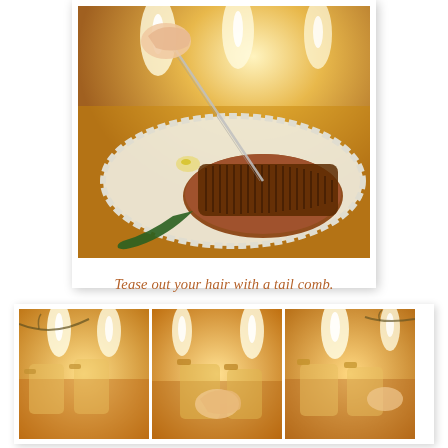[Figure (photo): A close-up photo of a hairbrush with brown bristles on a floral embroidered white doily, with a tail comb being inserted into the bristles. Warm candlelight glow in the background.]
Tease out your hair with a tail comb.
[Figure (photo): Three side-by-side smaller photos showing steps of the hair teasing process with warm candlelight glowing in the background.]